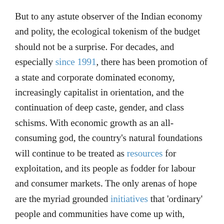But to any astute observer of the Indian economy and polity, the ecological tokenism of the budget should not be a surprise. For decades, and especially since 1991, there has been promotion of a state and corporate dominated economy, increasingly capitalist in orientation, and the continuation of deep caste, gender, and class schisms. With economic growth as an all-consuming god, the country's natural foundations will continue to be treated as resources for exploitation, and its people as fodder for labour and consumer markets. The only arenas of hope are the myriad grounded initiatives that 'ordinary' people and communities have come up with, occasionally supported by governmental action, and the resistance movements of which the recent farmers' mobilization is an inspiring example. Even the few insertions towards sustainability and justice that one sees in the 2022-23 budget, are possibly an outcome of such movements and